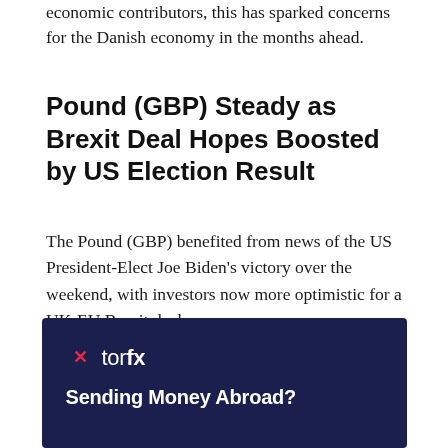economic contributors, this has sparked concerns for the Danish economy in the months ahead.
Pound (GBP) Steady as Brexit Deal Hopes Boosted by US Election Result
The Pound (GBP) benefited from news of the US President-Elect Joe Biden's victory over the weekend, with investors now more optimistic for a UK-EU Brexit deal.
Prime Minister Boris Johnson's former cabinet colleague, Baroness Nicky Morgan, commented:
[Figure (logo): TorFX advertisement banner with dark navy background showing the TorFX logo and text 'Sending Money Abroad?']